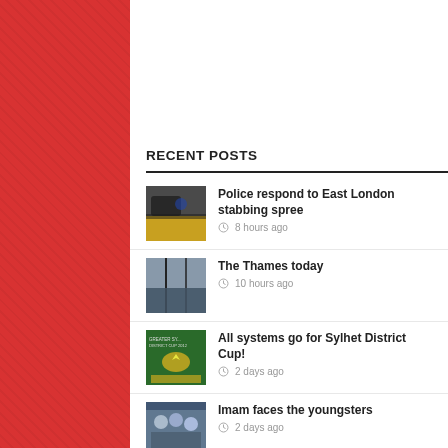RECENT POSTS
Police respond to East London stabbing spree — 8 hours ago
The Thames today — 10 hours ago
All systems go for Sylhet District Cup! — 2 days ago
Imam faces the youngsters — 2 days ago